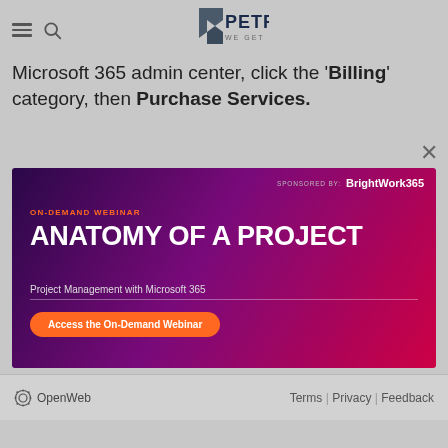PETRI — WE GET IT
Microsoft 365 admin center, click the 'Billing' category, then Purchase Services.
[Figure (infographic): Advertisement banner for BrightWork365 on-demand webinar: 'Anatomy of a Project — Project Management with Microsoft 365'. Orange 'Access the On-Demand Webinar' button. Sponsored by BrightWork365. Dark purple-to-pink gradient background.]
OpenWeb   Terms | Privacy | Feedback